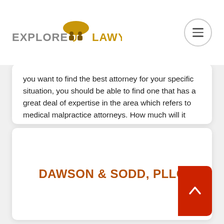EXPLORE LAWYERS.COM
you want to find the best attorney for your specific situation, you should be able to find one that has a great deal of expertise in the area which refers to medical malpractice attorneys. How much will it cost to hire a law firm? The cost of hiring a lawyer, who practice exclusively in the area of medical malpractice attorneys, depends on your legal case, and what arrangements you make. Attorney fees are obviously separate from fines, compensatory and punitive damages, and from court costs in a legal case. Important: a contingency fee, is an attorney fee that is made contingent on the outcome of a legal case.
DAWSON & SODD, PLLC